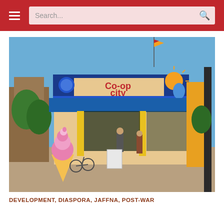Search...
[Figure (photo): Exterior photo of a 'Co-op city' shop in Jaffna, Sri Lanka. The shop has a blue awning, a large colorful sign reading 'Co-op city' with a sun and lotus flower graphic. A large decorative ice cream cone sculpture stands to the left. People are visible at the entrance. A Sri Lankan flag is visible on a pole. Blue sky in background.]
DEVELOPMENT, DIASPORA, JAFFNA, POST-WAR